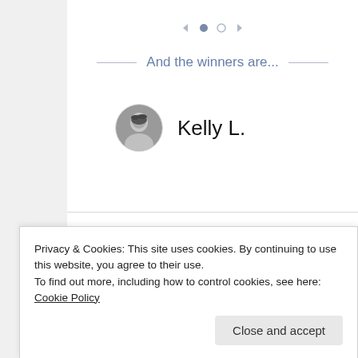[Figure (other): Navigation carousel dots and arrows: left arrow, filled circle (active), empty circle, right arrow]
And the winners are...
Kelly L.
Dee-Cee
Privacy & Cookies: This site uses cookies. By continuing to use this website, you agree to their use.
To find out more, including how to control cookies, see here: Cookie Policy